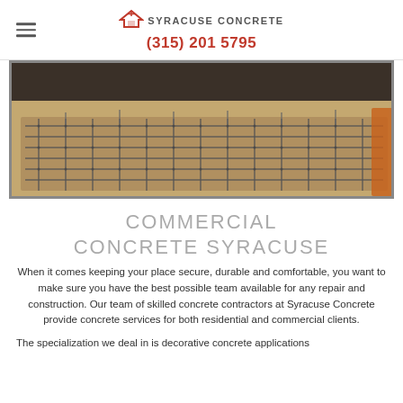SYRACUSE CONCRETE (315) 201 5795
[Figure (photo): Aerial view of a concrete foundation with steel rebar grid laid out in a rectangular frame, ready for concrete pouring at a construction site.]
COMMERCIAL CONCRETE SYRACUSE
When it comes keeping your place secure, durable and comfortable, you want to make sure you have the best possible team available for any repair and construction. Our team of skilled concrete contractors at Syracuse Concrete provide concrete services for both residential and commercial clients.
The specialization we deal in is decorative concrete applications